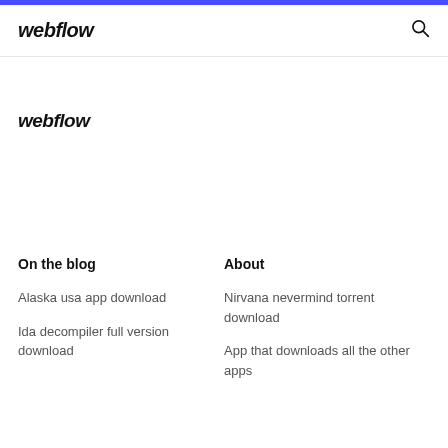webflow
webflow
On the blog
About
Alaska usa app download
Nirvana nevermind torrent download
Ida decompiler full version download
App that downloads all the other apps